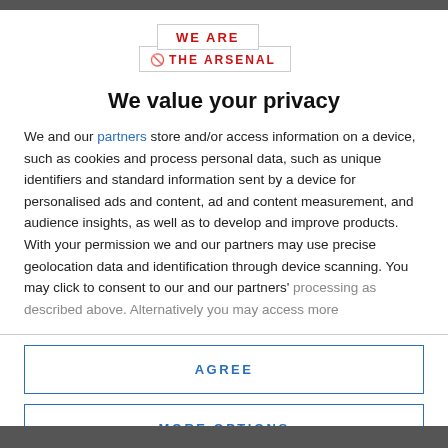[Figure (logo): We Are The Arsenal logo — two overlapping bordered boxes, top reads 'WE ARE', bottom reads a no-entry icon followed by 'THE ARSENAL', all in red capital letters]
We value your privacy
We and our partners store and/or access information on a device, such as cookies and process personal data, such as unique identifiers and standard information sent by a device for personalised ads and content, ad and content measurement, and audience insights, as well as to develop and improve products. With your permission we and our partners may use precise geolocation data and identification through device scanning. You may click to consent to our and our partners' processing as described above. Alternatively you may access more
AGREE
MORE OPTIONS